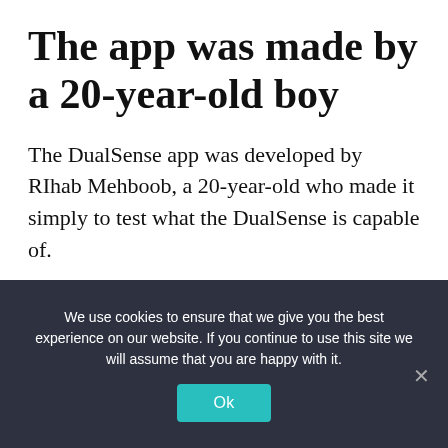The app was made by a 20-year-old boy
The DualSense app was developed by RIhab Mehboob, a 20-year-old who made it simply to test what the DualSense is capable of.
“I’ve always wanted to try and play with the different trigger effects of the DualSense, but not many games use it and when they do, it is not customizable,” Mehboob said in a talk with
We use cookies to ensure that we give you the best experience on our website. If you continue to use this site we will assume that you are happy with it.